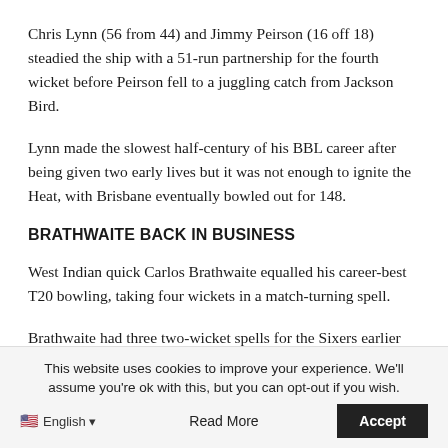Chris Lynn (56 from 44) and Jimmy Peirson (16 off 18) steadied the ship with a 51-run partnership for the fourth wicket before Peirson fell to a juggling catch from Jackson Bird.
Lynn made the slowest half-century of his BBL career after being given two early lives but it was not enough to ignite the Heat, with Brisbane eventually bowled out for 148.
BRATHWAITE BACK IN BUSINESS
West Indian quick Carlos Brathwaite equalled his career-best T20 bowling, taking four wickets in a match-turning spell.
Brathwaite had three two-wicket spells for the Sixers earlier this season but had managed just one scalp in his past three
This website uses cookies to improve your experience. We'll assume you're ok with this, but you can opt-out if you wish.
English ▼   Read More